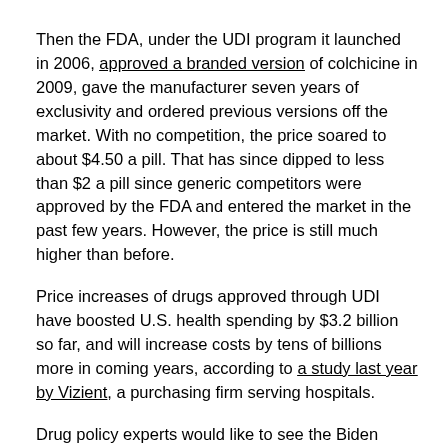Then the FDA, under the UDI program it launched in 2006, approved a branded version of colchicine in 2009, gave the manufacturer seven years of exclusivity and ordered previous versions off the market. With no competition, the price soared to about $4.50 a pill. That has since dipped to less than $2 a pill since generic competitors were approved by the FDA and entered the market in the past few years. However, the price is still much higher than before.
Price increases of drugs approved through UDI have boosted U.S. health spending by $3.2 billion so far, and will increase costs by tens of billions more in coming years, according to a study last year by Vizient, a purchasing firm serving hospitals.
Drug policy experts would like to see the Biden administration develop alternatives to UDI for reviewing the safety and efficacy of unapproved drugs that don't lead to big price hikes. One way, especially for common drugs that physicians and hospitals have used safely for decades, is having the FDA work with health care providers to collect and analyze data on their own through patient registries.
“If other entities collect the data, thus minimizing the research expense, it would perhaps be more appropriate for the manufacturers